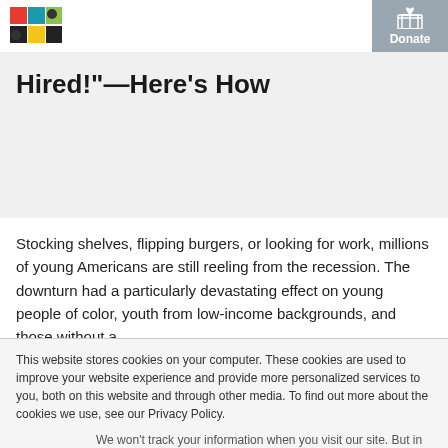[Figure (logo): Colorful logo with red, teal/blue, yellow-green, and dark squares arranged in a grid]
Tell More Young Adults, "You're Hired!"—Here's How
Stocking shelves, flipping burgers, or looking for work, millions of young Americans are still reeling from the recession. The downturn had a particularly devastating effect on young people of color, youth from low-income backgrounds, and those without a
This website stores cookies on your computer. These cookies are used to improve your website experience and provide more personalized services to you, both on this website and through other media. To find out more about the cookies we use, see our Privacy Policy.
We won't track your information when you visit our site. But in order to comply with your preferences, we'll have to use just one tiny cookie so that you're not asked to make this choice again.